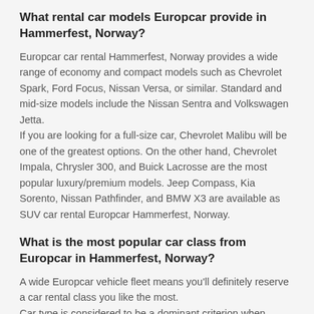What rental car models Europcar provide in Hammerfest, Norway?
Europcar car rental Hammerfest, Norway provides a wide range of economy and compact models such as Chevrolet Spark, Ford Focus, Nissan Versa, or similar. Standard and mid-size models include the Nissan Sentra and Volkswagen Jetta.
If you are looking for a full-size car, Chevrolet Malibu will be one of the greatest options. On the other hand, Chevrolet Impala, Chrysler 300, and Buick Lacrosse are the most popular luxury/premium models. Jeep Compass, Kia Sorento, Nissan Pathfinder, and BMW X3 are available as SUV car rental Europcar Hammerfest, Norway.
What is the most popular car class from Europcar in Hammerfest, Norway?
A wide Europcar vehicle fleet means you'll definitely reserve a car rental class you like the most.
Car type is considered to be a dominant criterion when choosing a vehicle for travel. That's why the suppliers have a